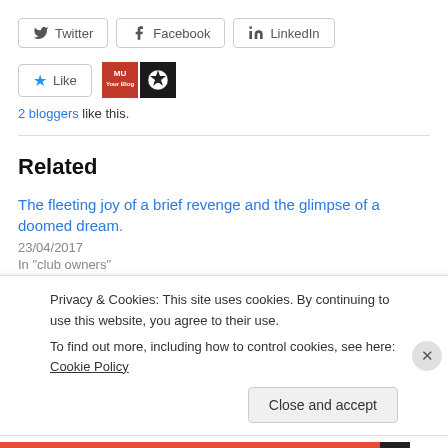[Figure (other): Social share buttons: Twitter, Facebook, LinkedIn]
[Figure (other): Like button with star icon and two blogger avatars (MU blog and soccer blog)]
2 bloggers like this.
Related
The fleeting joy of a brief revenge and the glimpse of a doomed dream.
23/04/2017
In "club owners"
Privacy & Cookies: This site uses cookies. By continuing to use this website, you agree to their use.
To find out more, including how to control cookies, see here: Cookie Policy
Close and accept